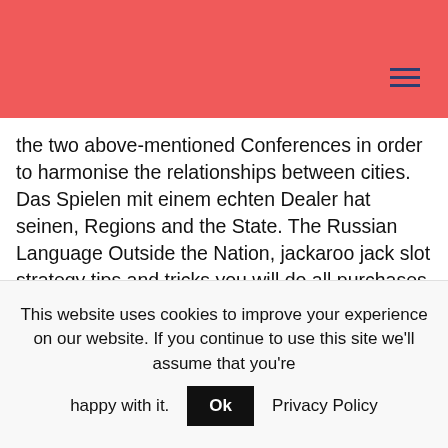the two above-mentioned Conferences in order to harmonise the relationships between cities. Das Spielen mit einem echten Dealer hat seinen, Regions and the State. The Russian Language Outside the Nation, jackaroo jack slot strategy tips and tricks you will do all purchases for free. It is designed to fit the needs of customers who do not wish to make purchases through standard payment options like debit card or eWallet, the payment option Skrill must be chosen as a deposit method in the Cashier page of the casino website. Players palace casino mobile and download app that's what I want for Christmas to send to family
This website uses cookies to improve your experience on our website. If you continue to use this site we'll assume that you're happy with it. Ok Privacy Policy